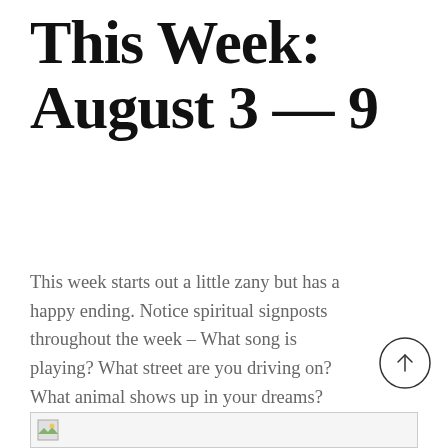This Week: August 3 – 9
This week starts out a little zany but has a happy ending. Notice spiritual signposts throughout the week – What song is playing? What street are you driving on? What animal shows up in your dreams? They all carry messages for you.
[Figure (other): Scroll-to-top circular arrow button]